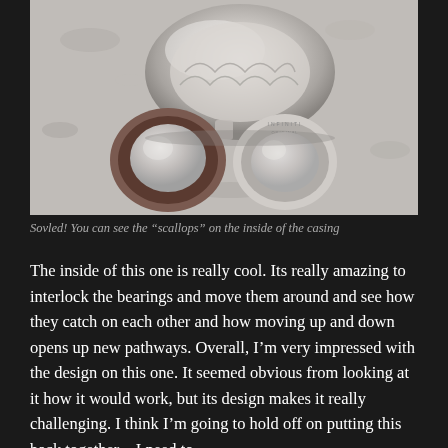[Figure (photo): Photo of mechanical puzzle or bearing mechanism disassembled, showing metallic casing with scalloped interior, and two circular bearing components with transparent/milky centers, photographed on a white textured surface]
Sovled! You can see the "scallops" on the inside of the casing
The inside of this one is really cool. Its really amazing to interlock the bearings and move them around and see how they catch on each other and how moving up and down opens up new pathways. Overall, I'm very impressed with the design on this one. It seemed obvious from looking at it how it would work, but its design makes it really challenging. I think I'm going to hold off on putting this back together – I need to